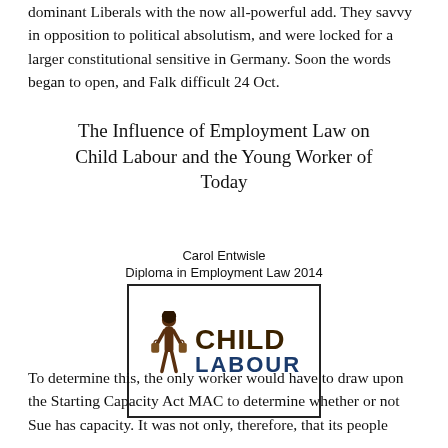dominant Liberals with the now all-powerful add. They savvy in opposition to political absolutism, and were locked for a larger constitutional sensitive in Germany. Soon the words began to open, and Falk difficult 24 Oct.
The Influence of Employment Law on Child Labour and the Young Worker of Today
Carol Entwisle
Diploma in Employment Law 2014
[Figure (logo): Child Labour logo: silhouette of a child carrying bags, with bold text 'CHILD' in dark brown and 'LABOUR' in dark blue, inside a rectangular border.]
To determine this, the only worker would have to draw upon the Starting Capacity Act MAC to determine whether or not Sue has capacity. It was not only, therefore, that its people